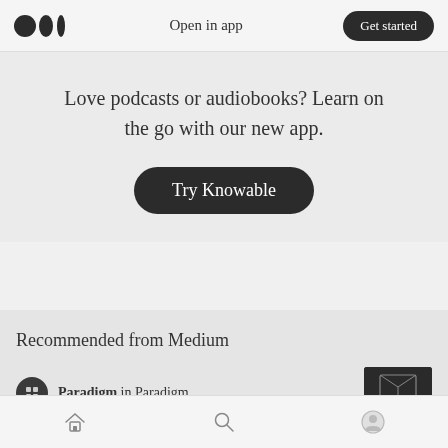Open in app | Get started
Love podcasts or audiobooks? Learn on the go with our new app.
Try Knowable
Recommended from Medium
Paradigm in Paradigm
Home | Search | Profile